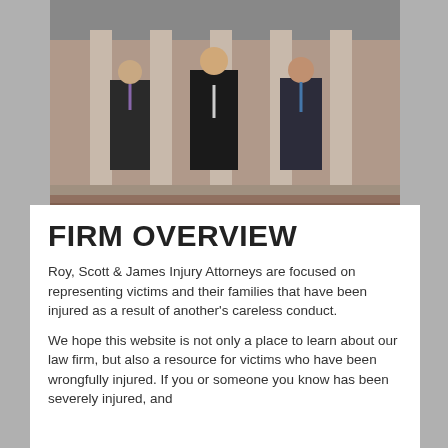[Figure (photo): Three male attorneys in dark suits standing in front of a building with stone columns, posed formally in a row]
FIRM OVERVIEW
Roy, Scott & James Injury Attorneys are focused on representing victims and their families that have been injured as a result of another's careless conduct.
We hope this website is not only a place to learn about our law firm, but also a resource for victims who have been wrongfully injured. If you or someone you know has been severely injured, and